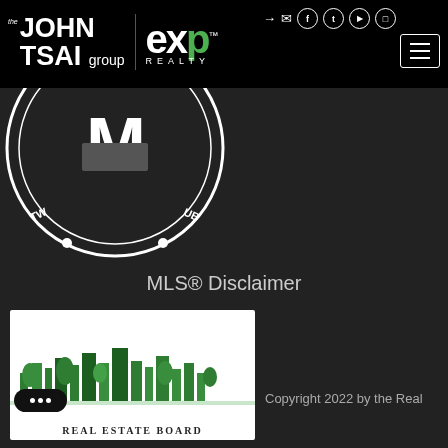the JOHN TSAI group | eXp REALTY
[Figure (logo): Circular member badge with 'MEMBER' text around the bottom, partially cropped at top]
MLS® Disclaimer
[Figure (logo): Real Estate Board logo with green skyline illustration and 'REAL ESTATE BOARD' text]
Copyright 2022 by the Real